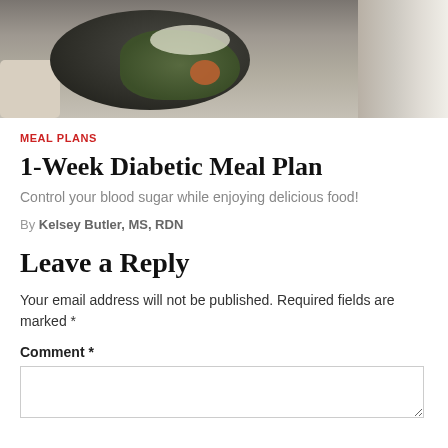[Figure (photo): Top-down photo of a dark plate with green vegetables, orange carrot pieces, grains with white drizzle, beside a linen cloth and white plates stacked on the right]
MEAL PLANS
1-Week Diabetic Meal Plan
Control your blood sugar while enjoying delicious food!
By Kelsey Butler, MS, RDN
Leave a Reply
Your email address will not be published. Required fields are marked *
Comment *